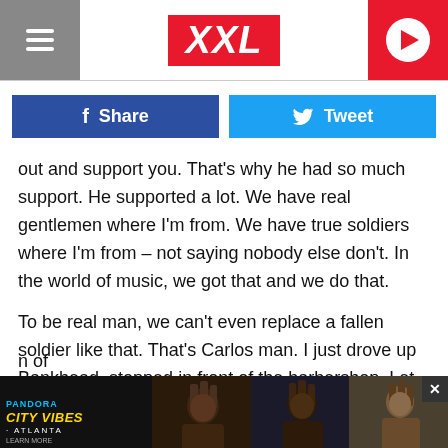XXL
Share
Tweet
out and support you. That's why he had so much support. He supported a lot. We have real gentlemen where I'm from. We have true soldiers where I'm from – not saying nobody else don't. In the world of music, we got that and we do that.
To be real man, we can't even replace a fallen soldier like that. That's Carlos man. I just drove up Bankhead, stopped in front of the barbershop. Let me tell you what's crazy. My people bought me a bottle of Hennessy for my birthday yesterday. I stopped in front of the news crew and everybody at th… [obscured] …n of Hen…
[Figure (photo): Pandora City Vibes Atlanta advertisement banner with photos of three men with dreadlocks at the bottom of the screen]